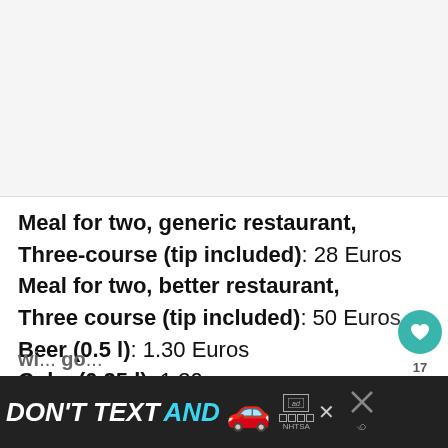[Figure (photo): Top area showing a blank/light grey image placeholder region]
Meal for two, generic restaurant, Three-course (tip included): 28 Euros
Meal for two, better restaurant, Three course (tip included): 50 Euros
Beer (0.5 l): 1.30 Euros
Coke (0.25 l): 1.30
[Figure (other): Bottom advertisement banner: DON'T TEXT AND [car emoji] ad/NHTSA logo with close button]
wi... go...